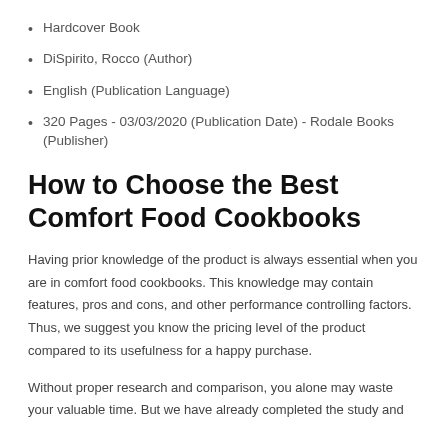Hardcover Book
DiSpirito, Rocco (Author)
English (Publication Language)
320 Pages - 03/03/2020 (Publication Date) - Rodale Books (Publisher)
How to Choose the Best Comfort Food Cookbooks
Having prior knowledge of the product is always essential when you are in comfort food cookbooks. This knowledge may contain features, pros and cons, and other performance controlling factors. Thus, we suggest you know the pricing level of the product compared to its usefulness for a happy purchase.
Without proper research and comparison, you alone may waste your valuable time. But we have already completed the study and